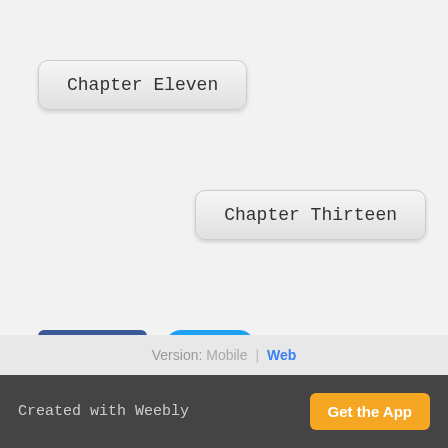Chapter Eleven
Chapter Thirteen
[Figure (other): Facebook Like button showing 'Like 1' count in blue]
[Figure (other): Twitter Tweet button in blue rounded style]
0 Comments
RSS Feed
Version: Mobile | Web
Created with Weebly  Get the App